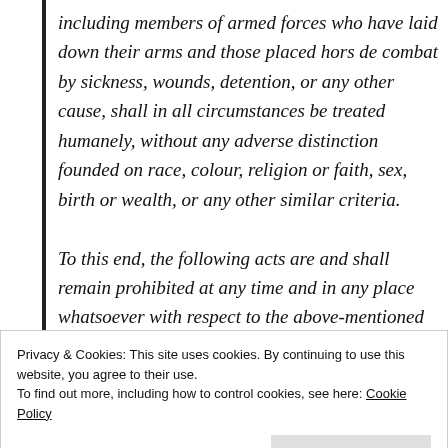including members of armed forces who have laid down their arms and those placed hors de combat by sickness, wounds, detention, or any other cause, shall in all circumstances be treated humanely, without any adverse distinction founded on race, colour, religion or faith, sex, birth or wealth, or any other similar criteria.

To this end, the following acts are and shall remain prohibited at any time and in any place whatsoever with respect to the above-mentioned persons:
Privacy & Cookies: This site uses cookies. By continuing to use this website, you agree to their use.
To find out more, including how to control cookies, see here: Cookie Policy
c) outrages upon personal dignity, in particular,